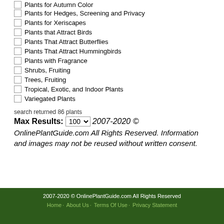Plants for Autumn Color
Plants for Hedges, Screening and Privacy
Plants for Xeriscapes
Plants that Attract Birds
Plants That Attract Butterflies
Plants That Attract Hummingbirds
Plants with Fragrance
Shrubs, Fruiting
Trees, Fruiting
Tropical, Exotic, and Indoor Plants
Variegated Plants
search returned 86 plants
Max Results: 100  2007-2020 © OnlinePlantGuide.com All Rights Reserved. Information and images may not be reused without written consent.
2007-2020 © OnlinePlantGuide.com All Rights Reserved  Home · About Us · Terms Of Use · Privacy Statement